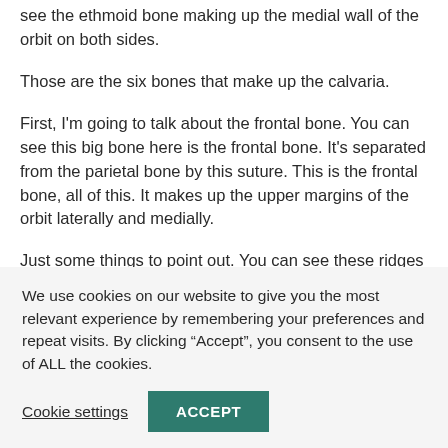see the ethmoid bone making up the medial wall of the orbit on both sides.
Those are the six bones that make up the calvaria.
First, I'm going to talk about the frontal bone. You can see this big bone here is the frontal bone. It's separated from the parietal bone by this suture. This is the frontal bone, all of this. It makes up the upper margins of the orbit laterally and medially.
Just some things to point out. You can see these ridges here just above the orbit – not so clearly, but you can make
We use cookies on our website to give you the most relevant experience by remembering your preferences and repeat visits. By clicking “Accept”, you consent to the use of ALL the cookies.
Cookie settings
ACCEPT